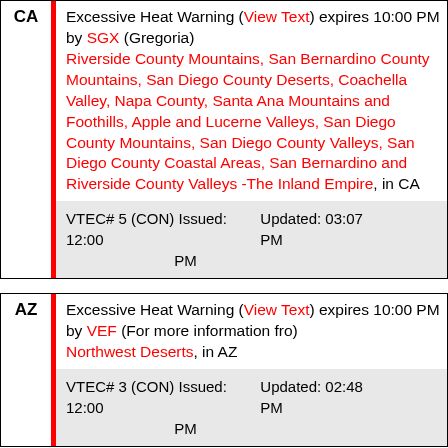CA | Excessive Heat Warning (View Text) expires 10:00 PM by SGX (Gregoria) Riverside County Mountains, San Bernardino County Mountains, San Diego County Deserts, Coachella Valley, Napa County, Santa Ana Mountains and Foothills, Apple and Lucerne Valleys, San Diego County Mountains, San Diego County Valleys, San Diego County Coastal Areas, San Bernardino and Riverside County Valleys -The Inland Empire, in CA VTEC# 5 (CON) Issued: 12:00 PM Updated: 03:07 PM
AZ | Excessive Heat Warning (View Text) expires 10:00 PM by VEF (For more information fro) Northwest Deserts, in AZ VTEC# 3 (CON) Issued: 12:00 PM Updated: 02:48 PM